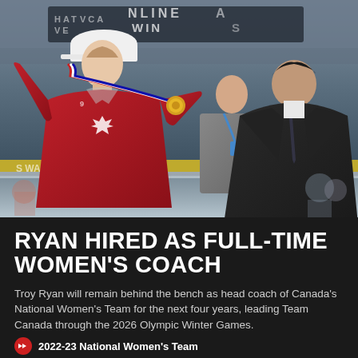[Figure (photo): A woman in a red Team Canada hockey jersey and white cap placing a medal around the neck of a man in a dark suit, at an ice rink ceremony. A woman in a grey blazer stands in the background.]
RYAN HIRED AS FULL-TIME WOMEN'S COACH
Troy Ryan will remain behind the bench as head coach of Canada's National Women's Team for the next four years, leading Team Canada through the 2026 Olympic Winter Games.
2022-23 National Women's Team